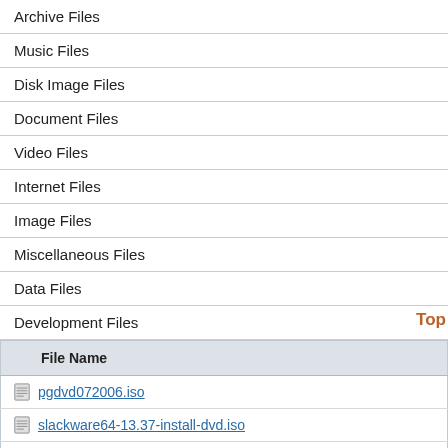| Archive Files |
| Music Files |
| Disk Image Files |
| Document Files |
| Video Files |
| Internet Files |
| Image Files |
| Miscellaneous Files |
| Data Files |
| Development Files |
Top
| File Name |
| --- |
| pgdvd072006.iso |
| slackware64-13.37-install-dvd.iso |
| slackware-13.37-install-dvd.iso |
| slackware64-13.1-install-dvd.iso |
| slackware-13.1-install-dvd.iso |